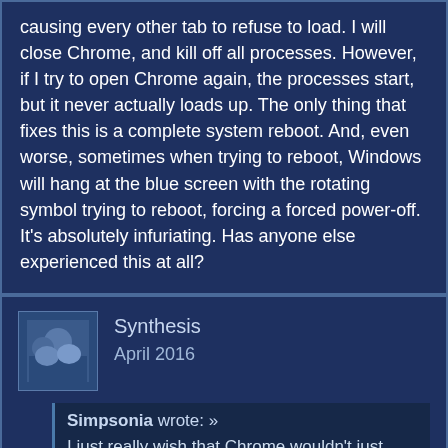causing every other tab to refuse to load. I will close Chrome, and kill off all processes. However, if I try to open Chrome again, the processes start, but it never actually loads up. The only thing that fixes this is a complete system reboot. And, even worse, sometimes when trying to reboot, Windows will hang at the blue screen with the rotating symbol trying to reboot, forcing a forced power-off. It's absolutely infuriating. Has anyone else experienced this at all?
Synthesis
April 2016
Simpsonia wrote: »
I just really wish that Chrome wouldn't just plain break my Windows 10.

A regular occurrence is that some wepage will refuse to load, causing every other tab to refuse to load. I will close Chrome, and kill off all processes. However, if I try to open Chrome again, the processes start, but it never actually loads up. The only thing that fixes this